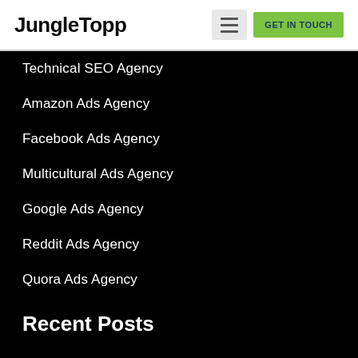JungleTopp — GET IN TOUCH
Technical SEO Agency
Amazon Ads Agency
Facebook Ads Agency
Multicultural Ads Agency
Google Ads Agency
Reddit Ads Agency
Quora Ads Agency
Recent Posts